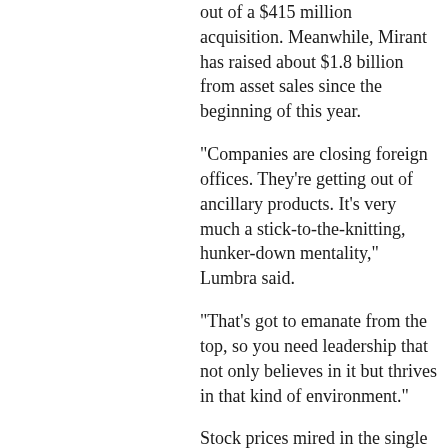out of a $415 million acquisition. Meanwhile, Mirant has raised about $1.8 billion from asset sales since the beginning of this year.
"Companies are closing foreign offices. They're getting out of ancillary products. It's very much a stick-to-the-knitting, hunker-down mentality," Lumbra said.
"That's got to emanate from the top, so you need leadership that not only believes in it but thrives in that kind of environment."
Stock prices mired in the single digits also increase the cries for CEO changes.
Dynegy's stock price is down 96 percent year-to-date, while AES has posted an 85 percent drop, Aquila has posted an 84 percent drop and CMS has lost 66 percent.